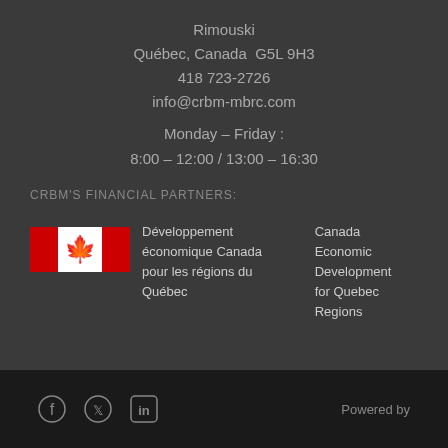Rimouski
Québec, Canada  G5L 9H3
418 723-2726
info@crbm-mbrc.com
Monday – Friday :
8:00 – 12:00 / 13:00 – 16:30
CRBM'S FINANCIAL PARTNERS:
[Figure (logo): Canada Economic Development for Quebec Regions logo with Canadian flag icon, French text: Développement économique Canada pour les régions du Québec, English text: Canada Economic Development for Quebec Regions]
Social media icons (Facebook, Twitter, LinkedIn) and Powered by text